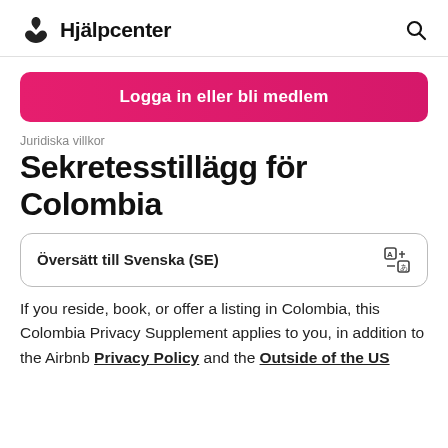Hjälpcenter
Logga in eller bli medlem
Juridiska villkor
Sekretesstillägg för Colombia
Översätt till Svenska (SE)
If you reside, book, or offer a listing in Colombia, this Colombia Privacy Supplement applies to you, in addition to the Airbnb Privacy Policy and the Outside of the US